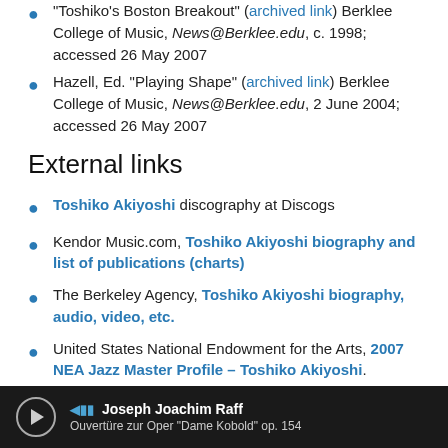'Toshiko's Boston Breakout' (archived link) Berklee College of Music, News@Berklee.edu, c. 1998; accessed 26 May 2007
Hazell, Ed. "Playing Shape" (archived link) Berklee College of Music, News@Berklee.edu, 2 June 2004; accessed 26 May 2007
External links
Toshiko Akiyoshi discography at Discogs
Kendor Music.com, Toshiko Akiyoshi biography and list of publications (charts)
The Berkeley Agency, Toshiko Akiyoshi biography, audio, video, etc.
United States National Endowment for the Arts, 2007 NEA Jazz Master Profile – Toshiko Akiyoshi. Includes a bio, links to a written interview and audio files of Akiyoshi speaking about: ... forming a Big Band; ... Teddy Wilson; ... Bud Powell; ... Jazz in the 50s.
Joseph Joachim Raff — Ouvertüre zur Oper "Dame Kobold" op. 154